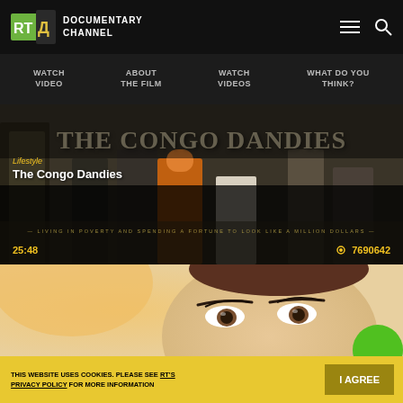[Figure (logo): RT Documentary Channel logo with green/white RT-D cube icon and white bold text 'DOCUMENTARY CHANNEL']
DOCUMENTARY CHANNEL
WATCH VIDEO | ABOUT THE FILM | WATCH VIDEOS | WHAT DO YOU THINK?
[Figure (screenshot): Video thumbnail for 'The Congo Dandies' documentary showing men in colorful suits with large bold overlaid title text and yellow subtitle line. Duration 25:48, Views 7690642.]
Lifestyle — The Congo Dandies — LIVING IN POVERTY AND SPENDING A FORTUNE TO LOOK LIKE A MILLION DOLLARS — 25:48 — 7690642
[Figure (photo): Close-up photo of a person's face showing eyes and forehead with styled hair, warm blurred tones.]
THIS WEBSITE USES COOKIES. PLEASE SEE RT'S PRIVACY POLICY FOR MORE INFORMATION
I AGREE